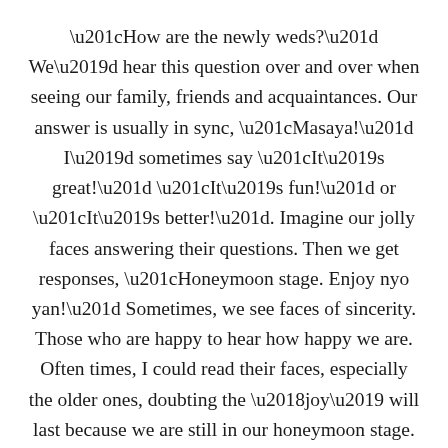“How are the newly weds?” We’d hear this question over and over when seeing our family, friends and acquaintances. Our answer is usually in sync, “Masaya!” I’d sometimes say “It’s great!” “It’s fun!” or “It’s better!”. Imagine our jolly faces answering their questions. Then we get responses, “Honeymoon stage. Enjoy nyo yan!” Sometimes, we see faces of sincerity. Those who are happy to hear how happy we are. Often times, I could read their faces, especially the older ones, doubting the ‘joy’ will last because we are still in our honeymoon stage. Haha! Well that’s true. We are at our honeymoon stage and we are enjoying every bit of it.  But really, how are we? It’s not all about fun and enjoying life right? I can’t speak 100% for him but here’s my share of how we are